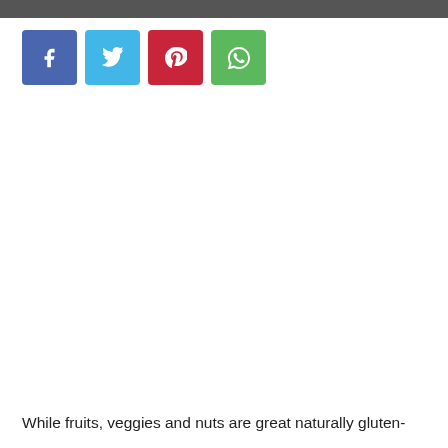[Figure (photo): Dark top bar representing the bottom edge of a photo above]
[Figure (infographic): Row of four social media share buttons: Facebook (blue), Twitter (light blue), Pinterest (red), WhatsApp (green)]
While fruits, veggies and nuts are great naturally gluten-